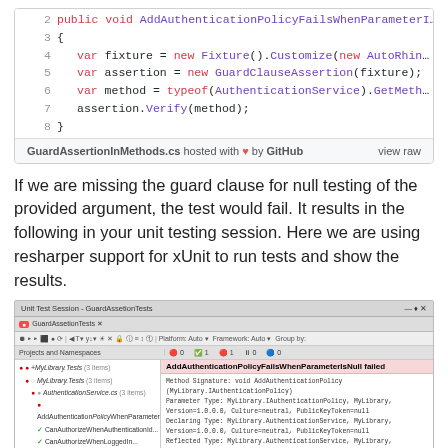[Figure (screenshot): Code snippet showing C# test method lines 2-8: public void AddAuthenticationPolicyFailsWhenParameterI..., var fixture = new Fixture().Customize(new AutoRhin..., var assertion = new GuardClauseAssertion(fixture);, var method = typeof(AuthenticationService).GetMeth..., assertion.Verify(method);, closing brace. Footer: GuardAssertionInMethods.cs hosted with heart by GitHub, view raw]
If we are missing the guard clause for null testing of the provided argument, the test would fail. It results in the following in your unit testing session. Here we are using resharper support for xUnit to run tests and show the results.
[Figure (screenshot): ReSharper Unit Test Session window showing GuardAssertionTests with AddAuthenticationPolicyFailsWhenParameterIsNull failed, displaying error details about method signature, parameter type, declaring type, reflected type for MyLibrary.AuthenticationService]